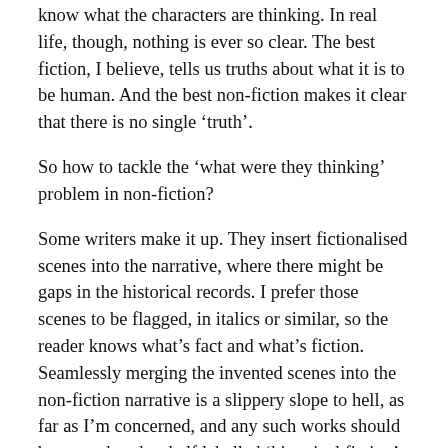know what the characters are thinking. In real life, though, nothing is ever so clear. The best fiction, I believe, tells us truths about what it is to be human. And the best non-fiction makes it clear that there is no single ‘truth’.
So how to tackle the ‘what were they thinking’ problem in non-fiction?
Some writers make it up. They insert fictionalised scenes into the narrative, where there might be gaps in the historical records. I prefer those scenes to be flagged, in italics or similar, so the reader knows what’s fact and what’s fiction. Seamlessly merging the invented scenes into the non-fiction narrative is a slippery slope to hell, as far as I’m concerned, and any such works should be moved to the shelf labelled ‘historical fiction’. Which is a fine shelf, and one I enjoy, but it’s not non-